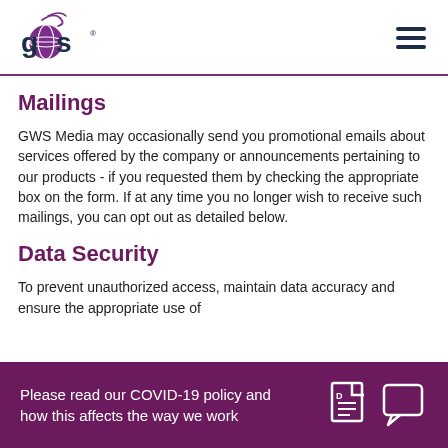[Figure (logo): GWS Media logo with purple globe and dark blue text]
Mailings
GWS Media may occasionally send you promotional emails about services offered by the company or announcements pertaining to our products - if you requested them by checking the appropriate box on the form. If at any time you no longer wish to receive such mailings, you can opt out as detailed below.
Data Security
To prevent unauthorized access, maintain data accuracy and ensure the appropriate use of
Please read our COVID-19 policy and how this affects the way we work